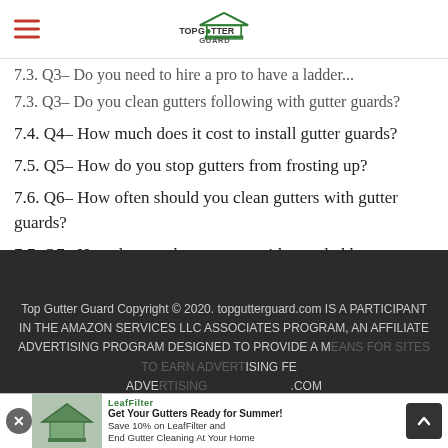Top Gutter Guard (logo) – navigation bar with hamburger menu
7.3. Q3– Do you need to hire a pro to have a ladder...
7.3. Q3– Do you clean gutters following with gutter guards?
7.4. Q4– How much does it cost to install gutter guards?
7.5. Q5– How do you stop gutters from frosting up?
7.6. Q6– How often should you clean gutters with gutter guards?
7.7. Q7– How do you clean gutters without a ladder
8. Top Questions to Ask When Selecting Gutter Guards
Top Gutter Guard Copyright © 2020. topgutterguard.com IS A PARTICIPANT IN THE AMAZON SERVICES LLC ASSOCIATES PROGRAM, AN AFFILIATE ADVERTISING PROGRAM DESIGNED TO PROVIDE A MEANS FOR SITES TO EARN ADVERTISING FE ADVE .COM